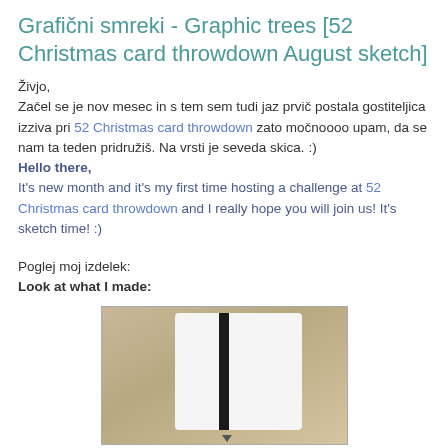Grafični smreki - Graphic trees [52 Christmas card throwdown August sketch]
Živjo,
Začel se je nov mesec in s tem sem tudi jaz prvič postala gostiteljica izziva pri 52 Christmas card throwdown zato močnoooo upam, da se nam ta teden pridružiš. Na vrsti je seveda skica. :)
Hello there,
It's new month and it's my first time hosting a challenge at 52 Christmas card throwdown and I really hope you will join us! It's sketch time! :)
Poglej moj izdelek:
Look at what I made:
[Figure (photo): A handmade card with white panels and a dark spine, placed on a wooden surface]